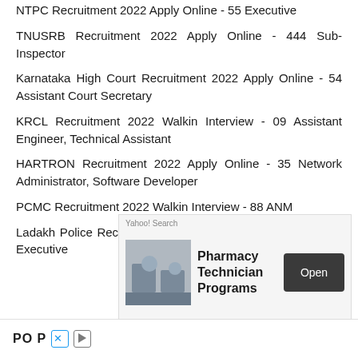NTPC Recruitment 2022 Apply Online - 55 Executive
TNUSRB Recruitment 2022 Apply Online - 444 Sub-Inspector
Karnataka High Court Recruitment 2022 Apply Online - 54 Assistant Court Secretary
KRCL Recruitment 2022 Walkin Interview - 09 Assistant Engineer, Technical Assistant
HARTRON Recruitment 2022 Apply Online - 35 Network Administrator, Software Developer
PCMC Recruitment 2022 Walkin Interview - 88 ANM
Ladakh Police Recruitment 2022 Apply Online - 80 Follower Executive
[Figure (screenshot): Advertisement overlay: Yahoo! Search - Pharmacy Technician Programs with Open button]
POP